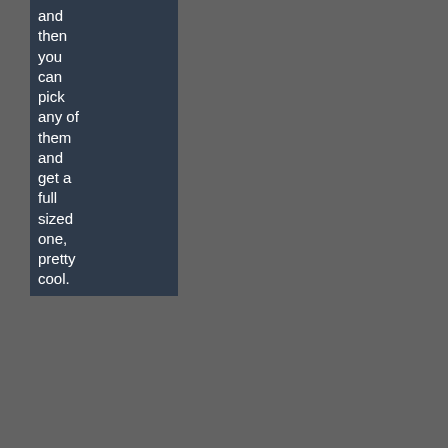and then you can pick any of them and get a full sized one, pretty cool.
<< Comment #110 @ 08:26 CST, 15 December 2008 >>
(Link, Reply) By touris - Reply to